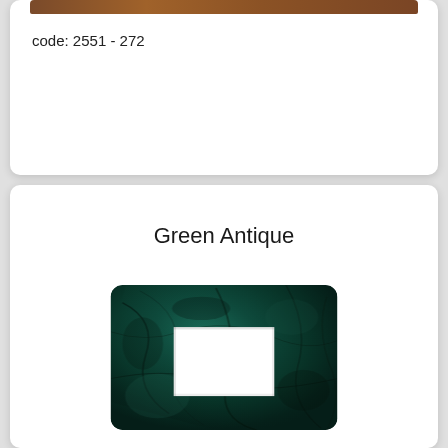[Figure (other): Brown decorative bar at top of upper card]
code: 2551 - 272
Green Antique
[Figure (photo): Green antique marble-textured decorative frame/plate with rounded corners and a white rectangular cutout in the center, showing dark green and black marbled pattern]